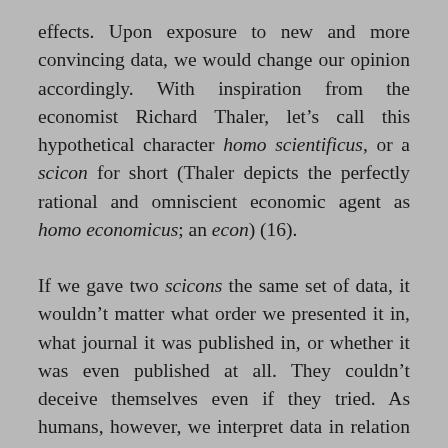effects. Upon exposure to new and more convincing data, we would change our opinion accordingly. With inspiration from the economist Richard Thaler, let's call this hypothetical character homo scientificus, or a scicon for short (Thaler depicts the perfectly rational and omniscient economic agent as homo economicus; an econ) (16).
If we gave two scicons the same set of data, it wouldn't matter what order we presented it in, what journal it was published in, or whether it was even published at all. They couldn't deceive themselves even if they tried. As humans, however, we interpret data in relation to the order we receive it, our field of expertise, our own theoretical and methodological preferences, and even our emotional state at the time of reading. Needless to say, even the most seasoned